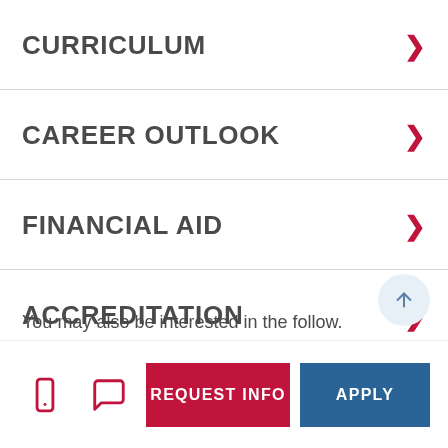CURRICULUM
CAREER OUTLOOK
FINANCIAL AID
ACCREDITATION
You may also be interested in the following...
REQUEST INFO | APPLY